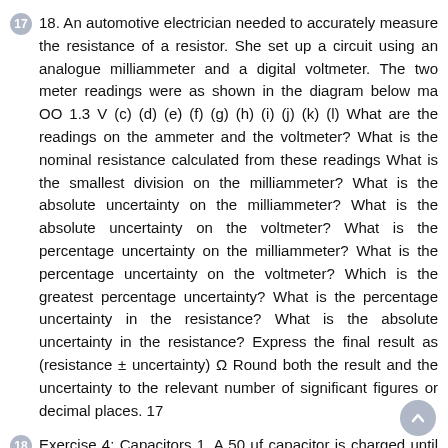18. An automotive electrician needed to accurately measure the resistance of a resistor. She set up a circuit using an analogue milliammeter and a digital voltmeter. The two meter readings were as shown in the diagram below ma OO 1.3 V (c) (d) (e) (f) (g) (h) (i) (j) (k) (l) What are the readings on the ammeter and the voltmeter? What is the nominal resistance calculated from these readings What is the smallest division on the milliammeter? What is the absolute uncertainty on the milliammeter? What is the absolute uncertainty on the voltmeter? What is the percentage uncertainty on the milliammeter? What is the percentage uncertainty on the voltmeter? Which is the greatest percentage uncertainty? What is the percentage uncertainty in the resistance? What is the absolute uncertainty in the resistance? Express the final result as (resistance ± uncertainty) Ω Round both the result and the uncertainty to the relevant number of significant figures or decimal places. 17
Exercise 4: Capacitors 1. A 50 μf capacitor is charged until the p.d. across it is 100 V. Calculate the charge on the capacitor when the p.d. across it is 100 V. (i) The capacitor is now fully discharged in a time of 4.0 milliseconds